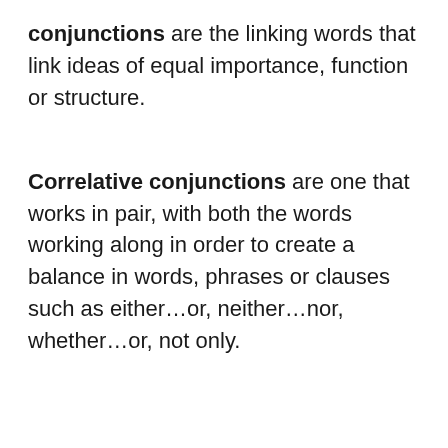conjunctions are the linking words that link ideas of equal importance, function or structure.
Correlative conjunctions are one that works in pair, with both the words working along in order to create a balance in words, phrases or clauses such as either…or, neither…nor, whether…or, not only.